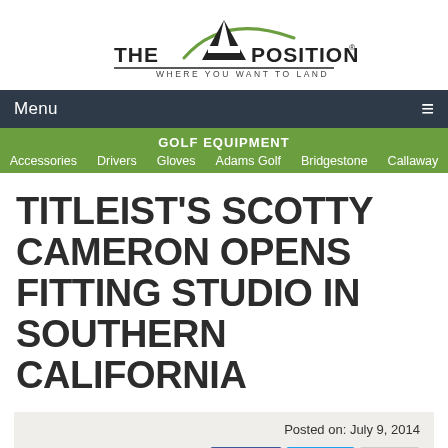[Figure (logo): The A Position logo — stylized letter A with green arc above, text 'THE A POSITION' and tagline 'WHERE YOU WANT TO LAND']
Menu ☰
GOLF EQUIPMENT
Accessories   Drivers   Gloves   Adams Golf   Bridgestone   Callaway
TITLEIST'S SCOTTY CAMERON OPENS FITTING STUDIO IN SOUTHERN CALIFORNIA
Posted on: July 9, 2014
Like   Twe   Email